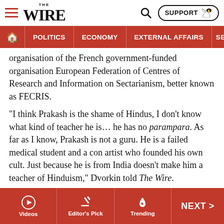THE WIRE — SUPPORT
POLITICS | ECONOMY | EXTERNAL AFFAIRS | SECU
organisation of the French government-funded organisation European Federation of Centres of Research and Information on Sectarianism, better known as FECRIS.
“I think Prakash is the shame of Hindus, I don’t know what kind of teacher he is… he has no parampara. As far as I know, Prakash is not a guru. He is a failed medical student and a con artist who founded his own cult. Just because he is from India doesn’t make him a teacher of Hinduism,” Dvorkin told The Wire.
‘Enemies by default’
“Despite masking as a follower of orthodox Christianity, all
Videos | Editor's Pick | Trending | NEXT >